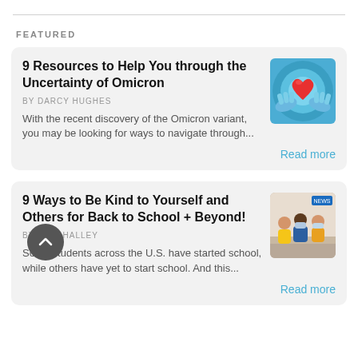FEATURED
9 Resources to Help You through the Uncertainty of Omicron
BY DARCY HUGHES
With the recent discovery of the Omicron variant, you may be looking for ways to navigate through...
Read more
[Figure (illustration): Illustrated image of hands holding a red heart with a blue swirling background]
9 Ways to Be Kind to Yourself and Others for Back to School + Beyond!
BY ERIN HALLEY
Some students across the U.S. have started school, while others have yet to start school. And this...
Read more
[Figure (photo): Photo of students wearing masks, appearing to interact in a school setting]